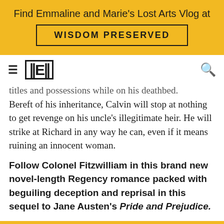Find Emmaline and Marie's Lost Arts Vlog at
WISDOM PRESERVED
≡ | E | 🔍
titles and possessions while on his deathbed. Bereft of his inheritance, Calvin will stop at nothing to get revenge on his uncle's illegitimate heir. He will strike at Richard in any way he can, even if it means ruining an innocent woman.
Follow Colonel Fitzwilliam in this brand new novel-length Regency romance packed with beguiling deception and reprisal in this sequel to Jane Austen's Pride and Prejudice.